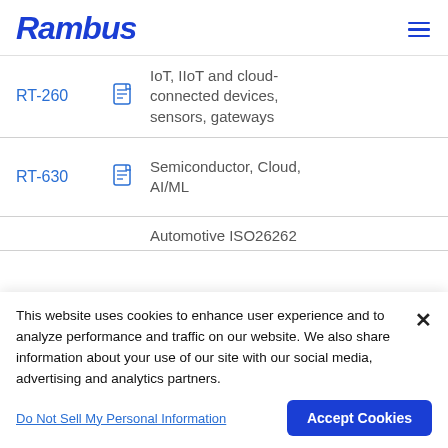Rambus
| Product |  | Description |
| --- | --- | --- |
| RT-260 | [doc icon] | IoT, IIoT and cloud-connected devices, sensors, gateways |
| RT-630 | [doc icon] | Semiconductor, Cloud, AI/ML |
|  |  | Automotive ISO26262 |
This website uses cookies to enhance user experience and to analyze performance and traffic on our website. We also share information about your use of our site with our social media, advertising and analytics partners.
Do Not Sell My Personal Information
Accept Cookies